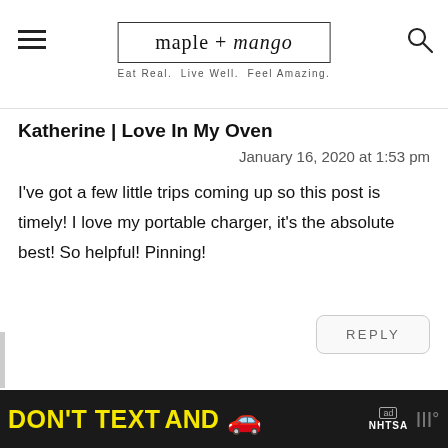maple + mango — Eat Real. Live Well. Feel Amazing.
Katherine | Love In My Oven
January 16, 2020 at 1:53 pm
I've got a few little trips coming up so this post is timely! I love my portable charger, it's the absolute best! So helpful! Pinning!
REPLY
[Figure (screenshot): Advertisement banner at bottom: black background with 'DON'T TEXT AND' in yellow/cyan text, red car emoji, ad badge, NHTSA logo, and radio station logo.]